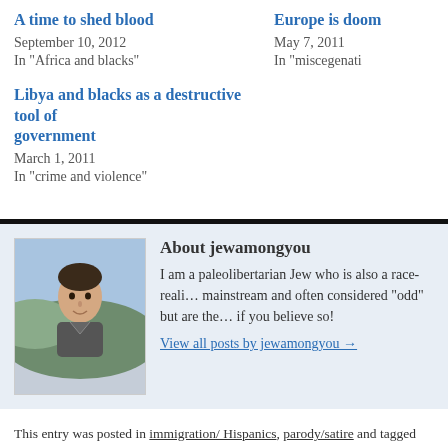A time to shed blood
September 10, 2012
In "Africa and blacks"
Europe is doom...
May 7, 2011
In "miscegenati..."
Libya and blacks as a destructive tool of government
March 1, 2011
In "crime and violence"
About jewamongyou
I am a paleolibertarian Jew who is also a race-reali... mainstream and often considered "odd" but are the... if you believe so!
View all posts by jewamongyou →
This entry was posted in immigration/ Hispanics, parody/satire and tagged AC... immigrants, stimulus package. Bookmark the permalink.
← Do we need a mensch in the White House?